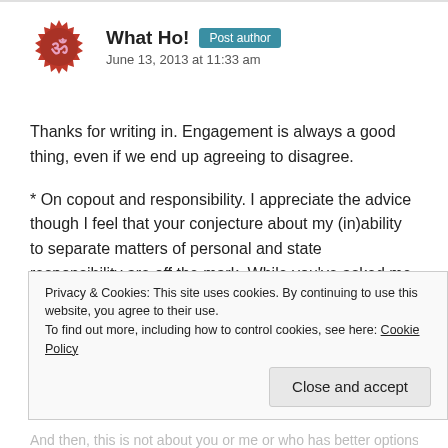What Ho! Post author
June 13, 2013 at 11:33 am
Thanks for writing in. Engagement is always a good thing, even if we end up agreeing to disagree.
* On copout and responsibility. I appreciate the advice though I feel that your conjecture about my (in)ability to separate matters of personal and state responsibility are off the mark. While you've asked me to not 'speak on behalf of all citizens of India' you imaginatively speak on my behalf, which I will interpret as a
Privacy & Cookies: This site uses cookies. By continuing to use this website, you agree to their use.
To find out more, including how to control cookies, see here: Cookie Policy
Close and accept
And then, this is not about you or me or who has better options